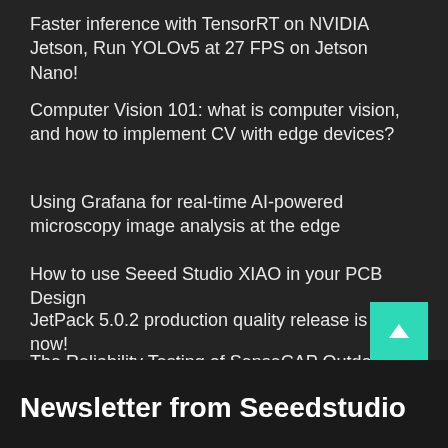Faster inference with TensorRT on NVIDIA Jetson, Run YOLOv5 at 27 FPS on Jetson Nano!
Computer Vision 101: what is computer vision, and how to implement CV with edge devices?
Using Grafana for real-time AI-powered microscopy image analysis at the edge
How to use Seeed Studio XIAO in your PCB Design
JetPack 5.0.2 production quality release is live now!
The Reliability Testing of SenseCAP Outdoor Enclosure
Challenge | Share your 3D Printed Enclosure for your Seeed Studio XIAO Project and Win XIAO Boards
Newsletter from Seeedstudio